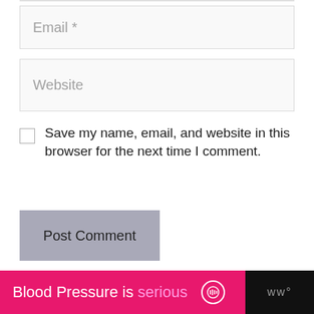Email *
Website
Save my name, email, and website in this browser for the next time I comment.
Post Comment
Recent Posts
[Figure (other): Advertisement banner: 'Blood Pressure is serious' on pink background with podcast icon, dark background on right side with 'ww' logo]